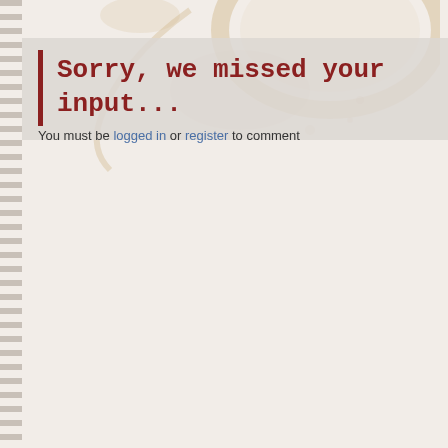Sorry, we missed your input...
You must be logged in or register to comment